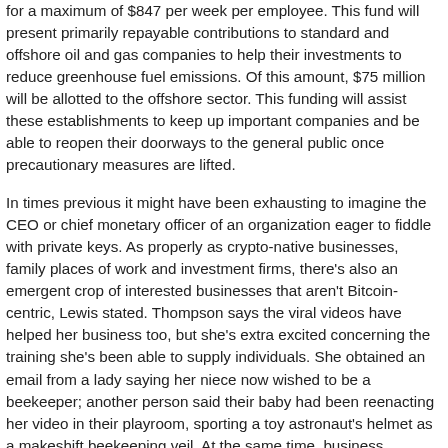for a maximum of $847 per week per employee. This fund will present primarily repayable contributions to standard and offshore oil and gas companies to help their investments to reduce greenhouse fuel emissions. Of this amount, $75 million will be allotted to the offshore sector. This funding will assist these establishments to keep up important companies and be able to reopen their doorways to the general public once precautionary measures are lifted.
In times previous it might have been exhausting to imagine the CEO or chief monetary officer of an organization eager to fiddle with private keys. As properly as crypto-native businesses, family places of work and investment firms, there's also an emergent crop of interested businesses that aren't Bitcoin-centric, Lewis stated. Thompson says the viral videos have helped her business too, but she's extra excited concerning the training she's been able to supply individuals. She obtained an email from a lady saying her niece now wished to be a beekeeper; another person said their baby had been reenacting her video in their playroom, sporting a toy astronaut's helmet as a makeshift beekeeping veil. At the same time, business homeowners have discovered clear patterns to what their audiences like, and so they might have